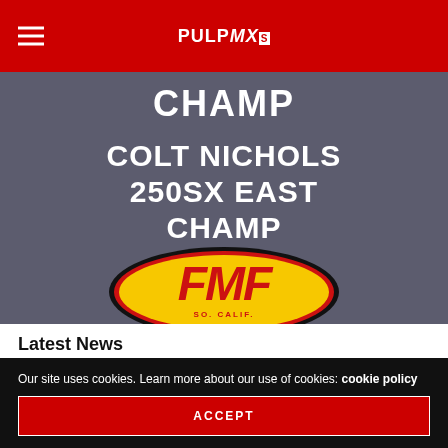PULPMX
[Figure (illustration): FMF Racing promotional banner on dark grey background. Text reads 'CHAMP' at top, then 'COLT NICHOLS 250SX EAST CHAMP' in large white bold letters. Below is the FMF oval logo in yellow, red and black with 'SO. CALIF.' text.]
Latest News
Our site uses cookies. Learn more about our use of cookies: cookie policy
ACCEPT